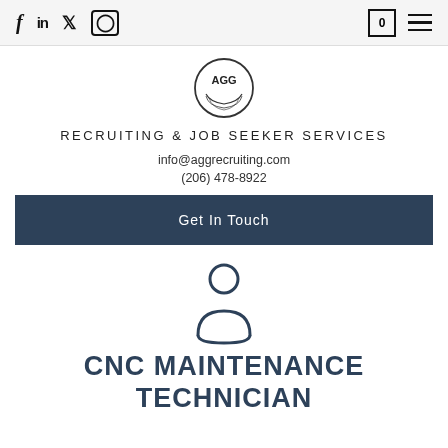f  in  (twitter)  (instagram)  |  [0]  ≡
[Figure (logo): AGG Recruiting circular logo with stylized text]
RECRUITING & JOB SEEKER SERVICES
info@aggrecruiting.com
(206) 478-8922
Get In Touch
[Figure (illustration): Person/user silhouette icon in dark teal outline style]
CNC MAINTENANCE TECHNICIAN